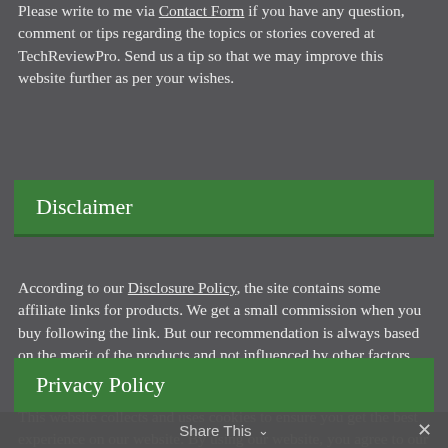Please write to me via Contact Form if you have any question, comment or tips regarding the topics or stories covered at TechReviewPro. Send us a tip so that we may improve this website further as per your wishes.
Disclaimer
According to our Disclosure Policy, the site contains some affiliate links for products. We get a small commission when you buy following the link. But our recommendation is always based on the merit of the products and not influenced by other factors.
Privacy Policy
This website collects and uses cookies to ensure you get the best experience on our website. By using our website, you agree to our terms & conditions for privacy policy. If you have any query or
Share This ∨  ✕